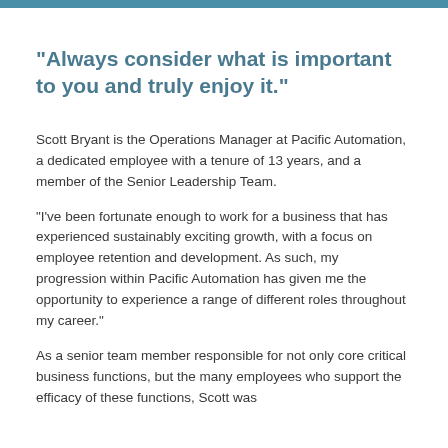“Always consider what is important to you and truly enjoy it.”
Scott Bryant is the Operations Manager at Pacific Automation, a dedicated employee with a tenure of 13 years, and a member of the Senior Leadership Team.
“I’ve been fortunate enough to work for a business that has experienced sustainably exciting growth, with a focus on employee retention and development. As such, my progression within Pacific Automation has given me the opportunity to experience a range of different roles throughout my career.”
As a senior team member responsible for not only core critical business functions, but the many employees who support the efficacy of these functions, Scott was